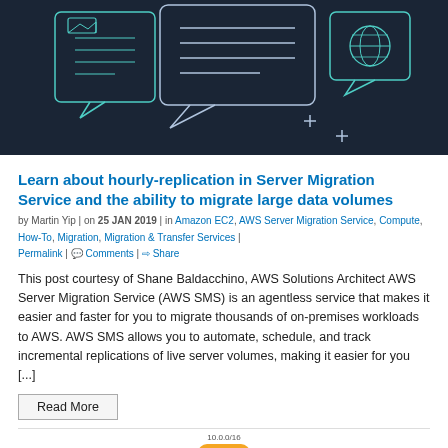[Figure (illustration): Dark blue illustrated banner showing speech/chat bubbles with document and globe icons, plus/cross symbols, in a technical blog style]
Learn about hourly-replication in Server Migration Service and the ability to migrate large data volumes
by Martin Yip | on 25 JAN 2019 | in Amazon EC2, AWS Server Migration Service, Compute, How-To, Migration, Migration & Transfer Services | Permalink | Comments | Share
This post courtesy of Shane Baldacchino, AWS Solutions Architect AWS Server Migration Service (AWS SMS) is an agentless service that makes it easier and faster for you to migrate thousands of on-premises workloads to AWS. AWS SMS allows you to automate, schedule, and track incremental replications of live server volumes, making it easier for you [...]
Read More
[Figure (engineering-diagram): Partial network diagram showing a VPC labeled '10.0.0/16' with orange VPC label badge and a red dashed border rectangle below]